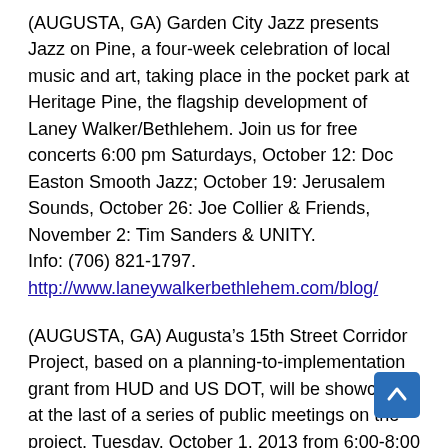(AUGUSTA, GA) Garden City Jazz presents Jazz on Pine, a four-week celebration of local music and art, taking place in the pocket park at Heritage Pine, the flagship development of Laney Walker/Bethlehem. Join us for free concerts 6:00 pm Saturdays, October 12: Doc Easton Smooth Jazz; October 19: Jerusalem Sounds, October 26: Joe Collier & Friends, November 2: Tim Sanders & UNITY. Info: (706) 821-1797. http://www.laneywalkerbethlehem.com/blog/
(AUGUSTA, GA) Augusta's 15th Street Corridor Project, based on a planning-to-implementation grant from HUD and US DOT, will be showcased at the last of a series of public meetings on the project, Tuesday, October 1, 2013 from 6:00-8:00 PM at T.W. Josey High School. A brief presentation begins at 6:00 PM followed by a breakout